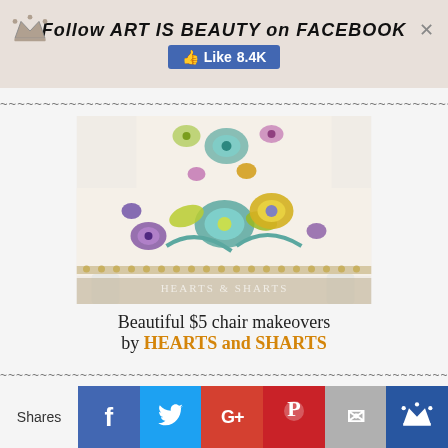Follow ART IS BEAUTY on FACEBOOK — Like 8.4K
[Figure (photo): Close-up photo of a chair seat upholstered with colorful floral fabric (purple, teal, yellow flowers) on white, with nailhead trim. White wooden chair legs visible. Watermark reads HEARTS & SHARTS.]
Beautiful $5 chair makeovers by HEARTS and SHARTS
Shares — Facebook, Twitter, Google+, Pinterest, Email, Crown